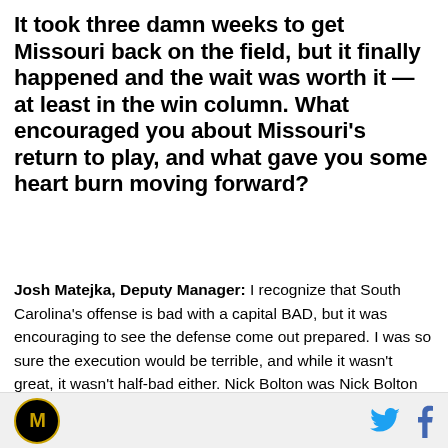It took three damn weeks to get Missouri back on the field, but it finally happened and the wait was worth it — at least in the win column. What encouraged you about Missouri's return to play, and what gave you some heart burn moving forward?
Josh Matejka, Deputy Manager: I recognize that South Carolina's offense is bad with a capital BAD, but it was encouraging to see the defense come out prepared. I was so sure the execution would be terrible, and while it wasn't great, it wasn't half-bad either. Nick Bolton was Nick Bolton and the defensive line continues to play above expectations. Sure, they
Missouri Tigers logo | Twitter | Facebook